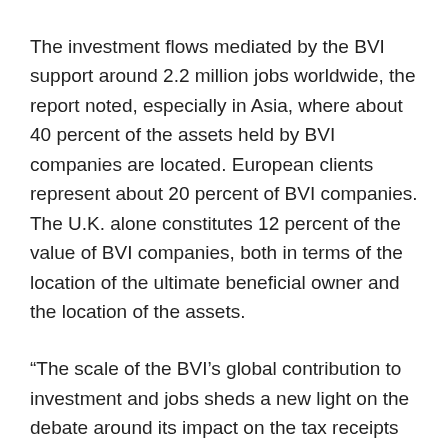The investment flows mediated by the BVI support around 2.2 million jobs worldwide, the report noted, especially in Asia, where about 40 percent of the assets held by BVI companies are located. European clients represent about 20 percent of BVI companies. The U.K. alone constitutes 12 percent of the value of BVI companies, both in terms of the location of the ultimate beneficial owner and the location of the assets.
“The scale of the BVI’s global contribution to investment and jobs sheds a new light on the debate around its impact on the tax receipts of other nations,” Capital Economics stated, and concluded, “The BVI is a substantial net benefit to governments worldwide.”